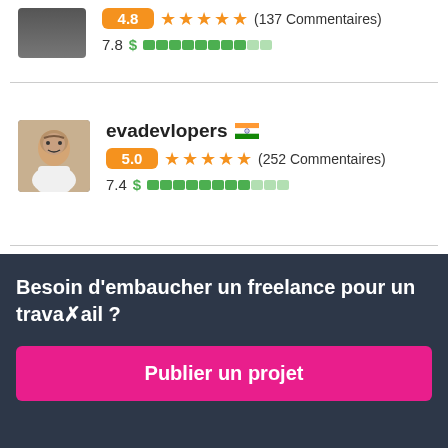[Figure (photo): Dark profile photo of first user (partially visible at top)]
4.8 ★★★★★ (137 Commentaires)
7.8 $ ██████████░░
[Figure (photo): Profile photo of evadevlopers — man in white shirt]
evadevlopers 🇮🇳
5.0 ★★★★★ (252 Commentaires)
7.4 $ ██████████░░
Besoin d'embaucher un freelance pour un travail ?
Publier un projet